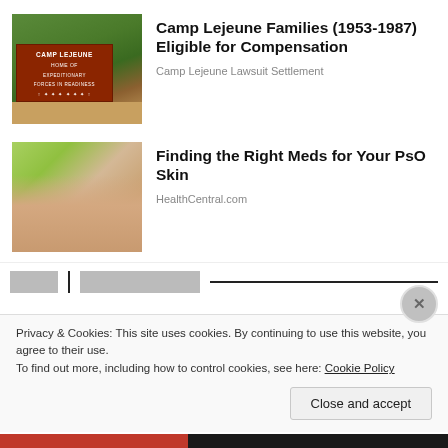[Figure (photo): Photo of Camp Lejeune entrance sign on a brick wall with trees in background]
Camp Lejeune Families (1953-1987) Eligible for Compensation
Camp Lejeune Lawsuit Settlement
[Figure (photo): Photo of a hand holding medication pills being dropped into it]
Finding the Right Meds for Your PsO Skin
HealthCentral.com
Privacy & Cookies: This site uses cookies. By continuing to use this website, you agree to their use.
To find out more, including how to control cookies, see here: Cookie Policy
Close and accept